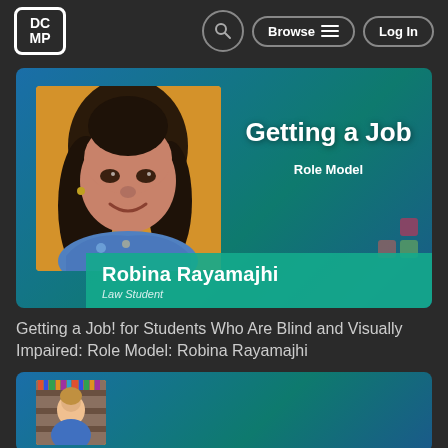[Figure (screenshot): DCMP website navigation bar with logo, search, browse, and login buttons]
[Figure (screenshot): Video thumbnail showing 'Getting a Job - Role Model' featuring Robina Rayamajhi, Law Student, on a teal/blue gradient background with a portrait photo on yellow background]
Getting a Job! for Students Who Are Blind and Visually Impaired: Role Model: Robina Rayamajhi
[Figure (screenshot): Partial second video thumbnail on blue/teal gradient background with a person photo on yellow background in a library setting]